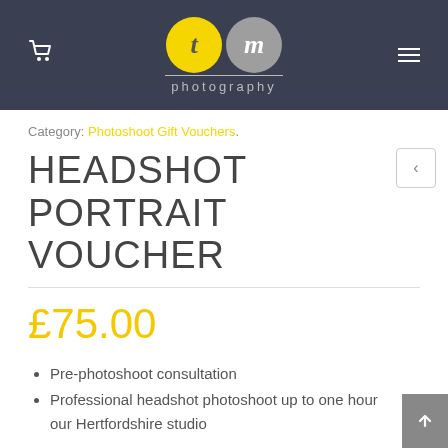[Figure (logo): TM Photography logo with yellow 't' circle and grey 'm' circle, with 'photography' text below]
Category: Photoshoot Gift Vouchers.
HEADSHOT PORTRAIT VOUCHER
£75.00
Pre-photoshoot consultation
Professional headshot photoshoot up to one hour our Hertfordshire studio